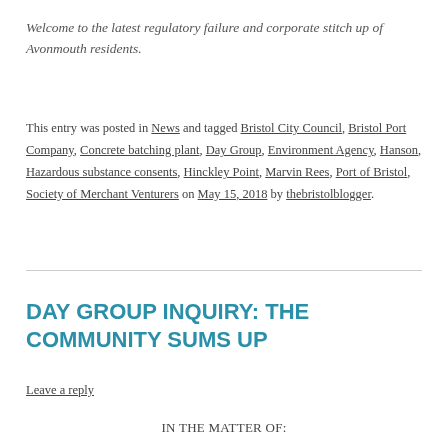Welcome to the latest regulatory failure and corporate stitch up of Avonmouth residents.
This entry was posted in News and tagged Bristol City Council, Bristol Port Company, Concrete batching plant, Day Group, Environment Agency, Hanson, Hazardous substance consents, Hinckley Point, Marvin Rees, Port of Bristol, Society of Merchant Venturers on May 15, 2018 by thebristolblogger.
DAY GROUP INQUIRY: THE COMMUNITY SUMS UP
Leave a reply
IN THE MATTER OF: